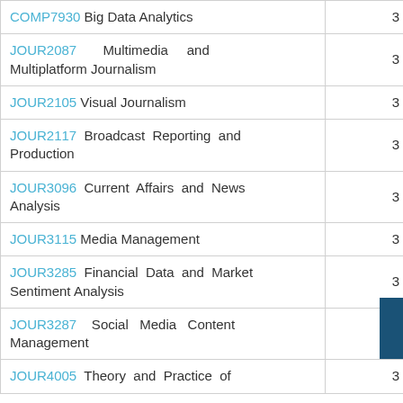| Course | Units |
| --- | --- |
| COMP7930 Big Data Analytics | 3 units |
| JOUR2087 Multimedia and Multiplatform Journalism | 3 units |
| JOUR2105 Visual Journalism | 3 units |
| JOUR2117 Broadcast Reporting and Production | 3 units |
| JOUR3096 Current Affairs and News Analysis | 3 units |
| JOUR3115 Media Management | 3 units |
| JOUR3285 Financial Data and Market Sentiment Analysis | 3 units |
| JOUR3287 Social Media Content Management | 3 units |
| JOUR4005 Theory and Practice of | 3 units |